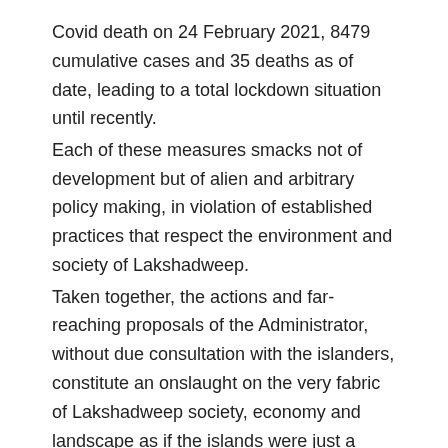Covid death on 24 February 2021, 8479 cumulative cases and 35 deaths as of date, leading to a total lockdown situation until recently. Each of these measures smacks not of development but of alien and arbitrary policy making, in violation of established practices that respect the environment and society of Lakshadweep. Taken together, the actions and far-reaching proposals of the Administrator, without due consultation with the islanders, constitute an onslaught on the very fabric of Lakshadweep society, economy and landscape as if the islands were just a piece of real estate for tourists and tourism investors from the outside world. They threaten to deprive the local population of their lands and livelihoods for an alien and exploitative model of development for the benefit of others in which they may at best occupy the lowest rung of service providers, that will disrupt traditional lifestyles, food, customs, society and social harmony